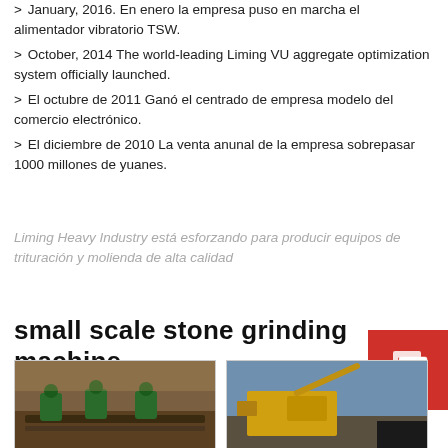> January, 2016. En enero la empresa puso en marcha el alimentador vibratorio TSW.
> October, 2014 The world-leading Liming VU aggregate optimization system officially launched.
> El octubre de 2011 Ganó el centrado de empresa modelo del comercio electrónico.
> El diciembre de 2010 La venta anunal de la empresa sobrepasar 1000 millones de yuanes.
Liming Heavy Industry está esforzando para producir equipos de trituración y molienda de alta calidad
small scale stone grinding machine
[Figure (photo): Mining/conveyor equipment scene with green machinery]
[Figure (photo): Yellow heavy machinery/crusher equipment outdoors]